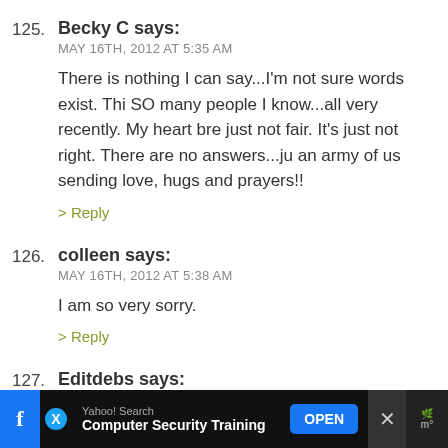125. Becky C says:
MAY 16TH, 2012 AT 5:35 AM
There is nothing I can say...I'm not sure words exist. Thi SO many people I know...all very recently. My heart bre just not fair. It's just not right. There are no answers...ju an army of us sending love, hugs and prayers!!
> Reply
126. colleen says:
MAY 16TH, 2012 AT 5:38 AM
I am so very sorry.
> Reply
127. Editdebs says:
MAY 16TH, 2012 AT 5:39 AM
I'm so sorry. Holding the Spohrs in my heart.
> Reply